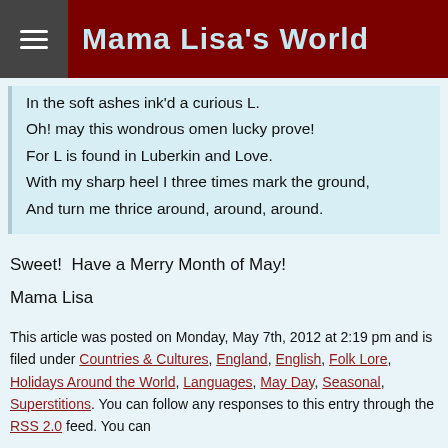Mama Lisa's World
In the soft ashes ink'd a curious L.
Oh! may this wondrous omen lucky prove!
For L is found in Luberkin and Love.
With my sharp heel I three times mark the ground,
And turn me thrice around, around, around.
Sweet!  Have a Merry Month of May!
Mama Lisa
This article was posted on Monday, May 7th, 2012 at 2:19 pm and is filed under Countries & Cultures, England, English, Folk Lore, Holidays Around the World, Languages, May Day, Seasonal, Superstitions. You can follow any responses to this entry through the RSS 2.0 feed. You can